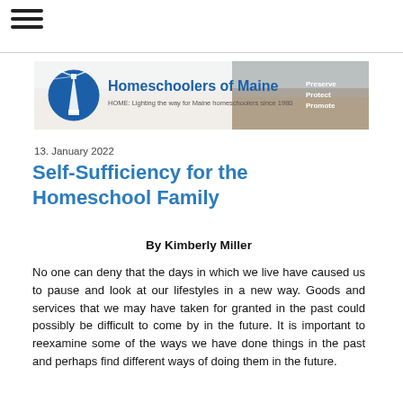[Figure (logo): Homeschoolers of Maine banner logo with lighthouse icon and tagline 'HOME: Lighting the way for Maine homeschoolers since 1980'. Text on right reads 'Preserve Protect Promote'.]
13. January 2022
Self-Sufficiency for the Homeschool Family
By Kimberly Miller
No one can deny that the days in which we live have caused us to pause and look at our lifestyles in a new way. Goods and services that we may have taken for granted in the past could possibly be difficult to come by in the future. It is important to reexamine some of the ways we have done things in the past and perhaps find different ways of doing them in the future.